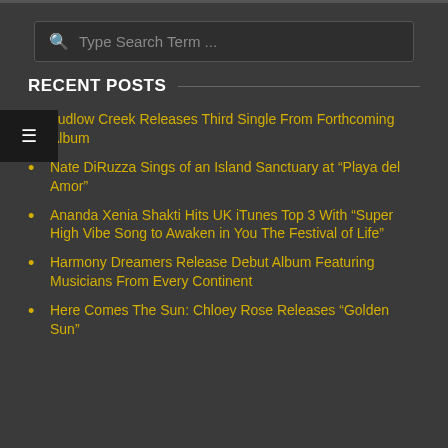[Figure (other): Search input box with magnifying glass icon and placeholder text 'Type Search Term ...']
RECENT POSTS
Ludlow Creek Releases Third Single From Forthcoming Album
Nate DiRuzza Sings of an Island Sanctuary at “Playa del Amor”
Ananda Xenia Shakti Hits UK iTunes Top 3 With “Super High Vibe Song to Awaken in You The Festival of Life”
Harmony Dreamers Release Debut Album Featuring Musicians From Every Continent
Here Comes The Sun: Chloey Rose Releases “Golden Sun”